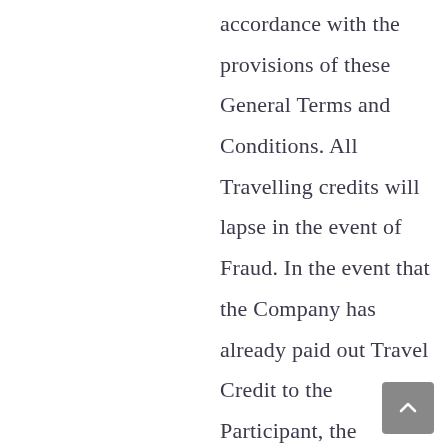accordance with the provisions of these General Terms and Conditions. All Travelling credits will lapse in the event of Fraud. In the event that the Company has already paid out Travel Credit to the Participant, the Participant is obliged to repay this Travel Credit to the Company. If the Company establishes that the Participant has committed Fraud in any way, the Participant shall forfeit in favour of the Company an